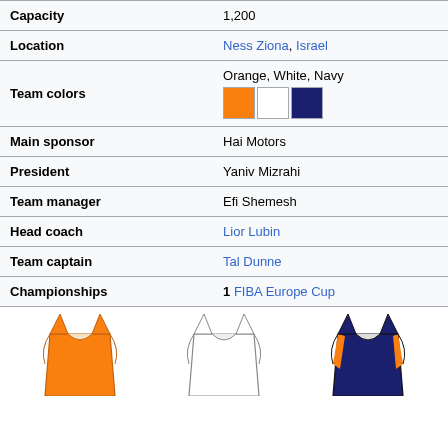| Field | Value |
| --- | --- |
| Capacity | 1,200 |
| Location | Ness Ziona, Israel |
| Team colors | Orange, White, Navy [swatches] |
| Main sponsor | Hai Motors |
| President | Yaniv Mizrahi |
| Team manager | Efi Shemesh |
| Head coach | Lior Lubin |
| Team captain | Tal Dunne |
| Championships | 1 FIBA Europe Cup |
[Figure (illustration): Three basketball jerseys: orange (home), white (away), navy/orange (alternate)]